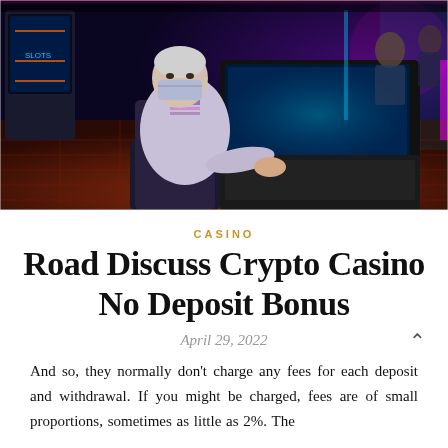[Figure (photo): An elderly person wearing a face mask seated at a casino slot machine terminal, reaching out to touch the screen. The casino floor is visible in the background with colorful lighting and other patrons.]
CASINO
Road Discuss Crypto Casino No Deposit Bonus
April 29, 2022
And so, they normally don't charge any fees for each deposit and withdrawal. If you might be charged, fees are of small proportions, sometimes as little as 2%. The